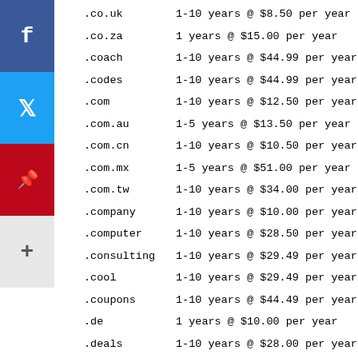.co.uk    1-10 years @ $8.50 per year
.co.za    1 years @ $15.00 per year
.coach    1-10 years @ $44.99 per year
.codes    1-10 years @ $44.99 per year
.com      1-10 years @ $12.50 per year
.com.au   1-5 years @ $13.50 per year
.com.cn   1-10 years @ $10.50 per year
.com.mx   1-5 years @ $51.00 per year
.com.tw   1-10 years @ $34.00 per year
.company  1-10 years @ $10.00 per year
.computer 1-10 years @ $28.50 per year
.consulting 1-10 years @ $29.49 per year
.cool     1-10 years @ $29.49 per year
.coupons  1-10 years @ $44.49 per year
.de       1 years @ $10.00 per year
.deals    1-10 years @ $28.00 per year